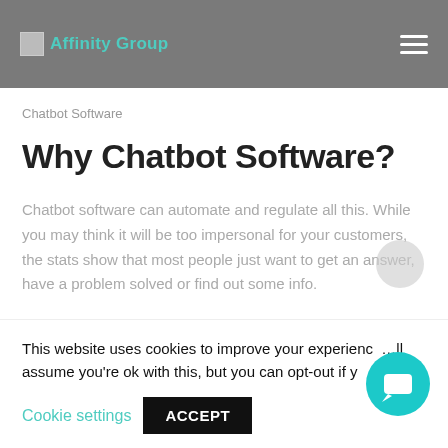Affinity Group
Chatbot Software
Why Chatbot Software?
Chatbot software can automate and regulate all this. While you may think it will be too impersonal for your customers, the stats show that most people just want to get an answer, have a problem solved or find out some info.
This website uses cookies to improve your experience. We'll assume you're ok with this, but you can opt-out if you wish.
Cookie settings
ACCEPT